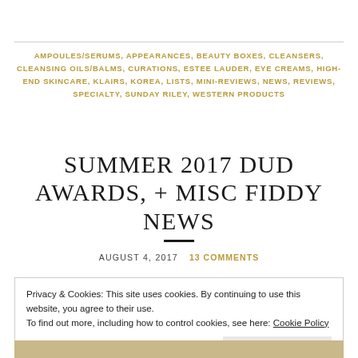AMPOULES/SERUMS, APPEARANCES, BEAUTY BOXES, CLEANSERS, CLEANSING OILS/BALMS, CURATIONS, ESTEE LAUDER, EYE CREAMS, HIGH-END SKINCARE, KLAIRS, KOREA, LISTS, MINI-REVIEWS, NEWS, REVIEWS, SPECIALTY, SUNDAY RILEY, WESTERN PRODUCTS
SUMMER 2017 DUD AWARDS, + MISC FIDDY NEWS
AUGUST 4, 2017   13 COMMENTS
Privacy & Cookies: This site uses cookies. By continuing to use this website, you agree to their use. To find out more, including how to control cookies, see here: Cookie Policy   Close and accept
[Figure (photo): Bottom strip showing a partial image, likely a product or lifestyle photo, cropped at the bottom of the page]